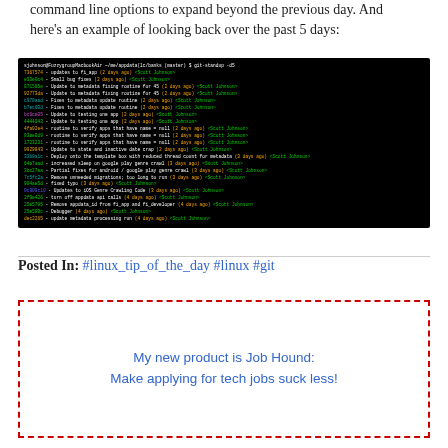command line options to expand beyond the previous day. And here's an example of looking back over the past 5 days:
[Figure (screenshot): Terminal screenshot showing git-standup -d5 output with commit hashes, messages, timestamps (2-4 days ago), and author Scott Johnson in a black terminal window with colored text.]
Posted In: #linux_tip_of_the_day #linux #git
My new product is Job Hound: Make applying for tech jobs suck less!